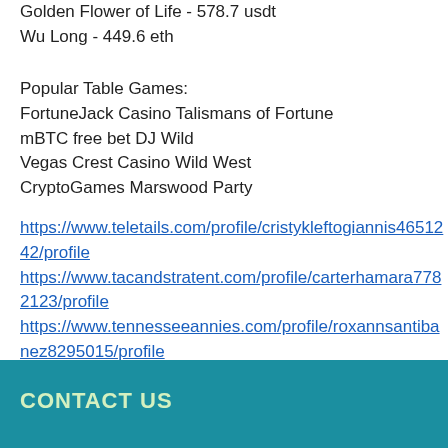Golden Flower of Life - 578.7 usdt
Wu Long - 449.6 eth
Popular Table Games:
FortuneJack Casino Talismans of Fortune
mBTC free bet DJ Wild
Vegas Crest Casino Wild West
CryptoGames Marswood Party
https://www.teletails.com/profile/cristykleftogiannis4651242/profile
https://www.tacandstratent.com/profile/carterhamara7782123/profile
https://www.tennesseeannies.com/profile/roxannsantibanez8295015/profile
https://www.teamluca.org/profile/vancemcadoo11086187/profile
CONTACT US